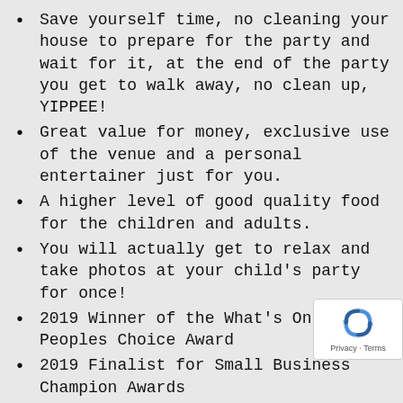Save yourself time, no cleaning your house to prepare for the party and wait for it, at the end of the party you get to walk away, no clean up, YIPPEE!
Great value for money, exclusive use of the venue and a personal entertainer just for you.
A higher level of good quality food for the children and adults.
You will actually get to relax and take photos at your child's party for once!
2019 Winner of the What's On 4 Kids Peoples Choice Award
2019 Finalist for Small Business Champion Awards
2019 Finalist for Local Business Awards
2010 & 2011 Winners of the local small business awards.
SMH quoted us as “The best disco in town”.
We have over 15 years experience and over 30 happy customers.
$20 million Public Liability Insurance